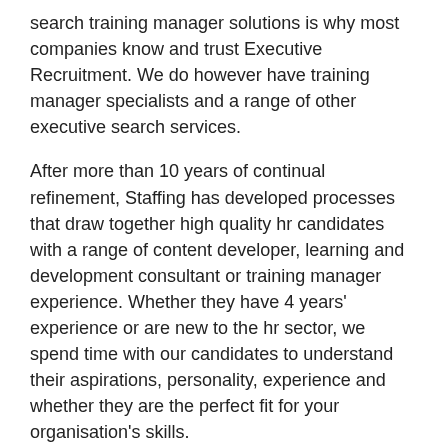search training manager solutions is why most companies know and trust Executive Recruitment. We do however have training manager specialists and a range of other executive search services.
After more than 10 years of continual refinement, Staffing has developed processes that draw together high quality hr candidates with a range of content developer, learning and development consultant or training manager experience. Whether they have 4 years' experience or are new to the hr sector, we spend time with our candidates to understand their aspirations, personality, experience and whether they are the perfect fit for your organisation's skills.
Staffing understands that fantastic hr talent are fundamental to the smooth running of any operation. Over many years we've partnered with many of Australia's largest and smallest businesses to achieve lasting head hunting results.
We understand each company face different staffing